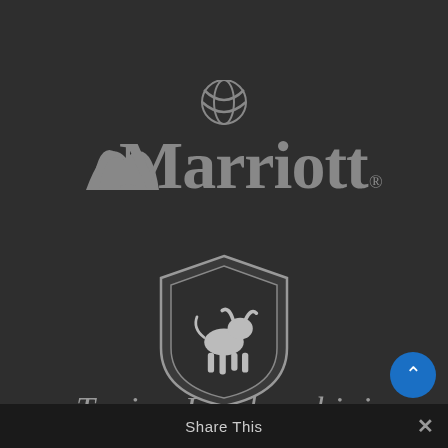[Figure (logo): Marriott hotel brand logo in gray on dark background, featuring stylized M letterform with the word Marriott and a registered trademark symbol]
[Figure (logo): Lamborghini shield logo in gray on dark background, featuring a charging bull inside a shield shape]
[Figure (logo): Tonino Lamborghini cursive script text logo in gray on dark background]
Share This